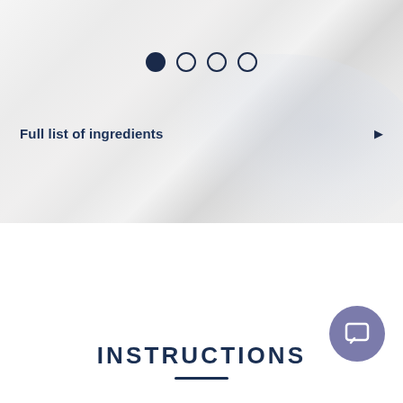[Figure (other): Carousel pagination with 4 dots — first dot filled, three empty — over a marble-textured background image area]
Full list of ingredients
INSTRUCTIONS